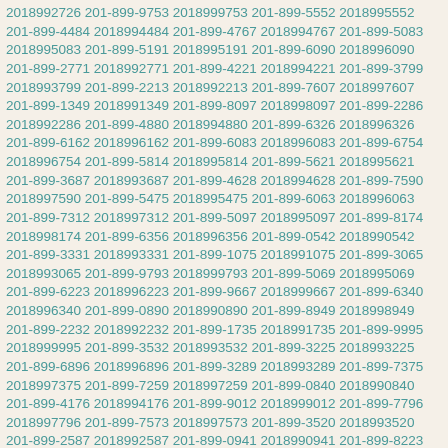2018992726 201-899-9753 2018999753 201-899-5552 2018995552 201-899-4484 2018994484 201-899-4767 2018994767 201-899-5083 2018995083 201-899-5191 2018995191 201-899-6090 2018996090 201-899-2771 2018992771 201-899-4221 2018994221 201-899-3799 2018993799 201-899-2213 2018992213 201-899-7607 2018997607 201-899-1349 2018991349 201-899-8097 2018998097 201-899-2286 2018992286 201-899-4880 2018994880 201-899-6326 2018996326 201-899-6162 2018996162 201-899-6083 2018996083 201-899-6754 2018996754 201-899-5814 2018995814 201-899-5621 2018995621 201-899-3687 2018993687 201-899-4628 2018994628 201-899-7590 2018997590 201-899-5475 2018995475 201-899-6063 2018996063 201-899-7312 2018997312 201-899-5097 2018995097 201-899-8174 2018998174 201-899-6356 2018996356 201-899-0542 2018990542 201-899-3331 2018993331 201-899-1075 2018991075 201-899-3065 2018993065 201-899-9793 2018999793 201-899-5069 2018995069 201-899-6223 2018996223 201-899-9667 2018999667 201-899-6340 2018996340 201-899-0890 2018990890 201-899-8949 2018998949 201-899-2232 2018992232 201-899-1735 2018991735 201-899-9995 2018999995 201-899-3532 2018993532 201-899-3225 2018993225 201-899-6896 2018996896 201-899-3289 2018993289 201-899-7375 2018997375 201-899-7259 2018997259 201-899-0840 2018990840 201-899-4176 2018994176 201-899-9012 2018999012 201-899-7796 2018997796 201-899-7573 2018997573 201-899-3520 2018993520 201-899-2587 2018992587 201-899-0941 2018990941 201-899-8223 2018998223 201-899-5857 2018995857 201-899-3400 2018993400 201-899-8649 2018998649 201-899-3279 2018993279 201-899-1933 2018991933 201-899-7771 2018997771 201-899-5553 20189955